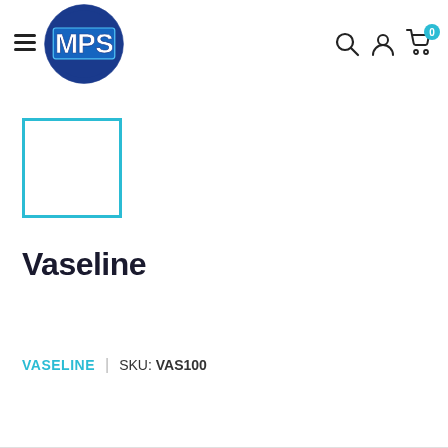MPS — navigation header with menu, logo, search, account, cart (0)
[Figure (other): Product image placeholder — empty white box with cyan border]
Vaseline
VASELINE | SKU: VAS100